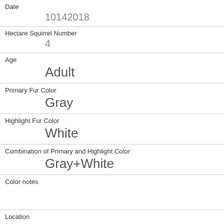| Date | 10142018 |
| Hectare Squirrel Number | 4 |
| Age | Adult |
| Primary Fur Color | Gray |
| Highlight Fur Color | White |
| Combination of Primary and Highlight Color | Gray+White |
| Color notes |  |
| Location | Ground Plane |
| Above Ground Sighter Measurement | FALSE |
| Specific Location | on rocks/bushy rocks |